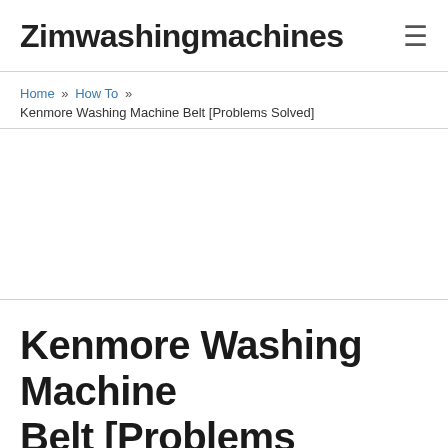Zimwashingmachines
Home » How To » Kenmore Washing Machine Belt [Problems Solved]
Kenmore Washing Machine Belt [Problems Solved]
By Riche